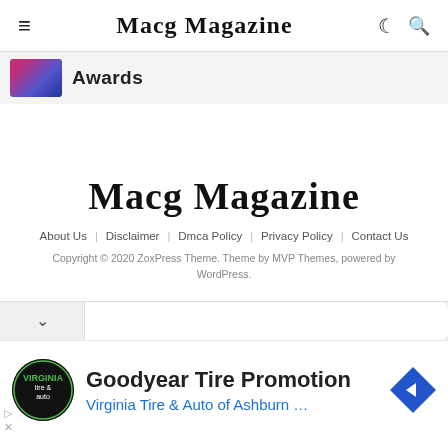≡  Macg Magazine  ☾ 🔍
Awards
[Figure (logo): Macg Magazine logo in blackletter/Old English font, centered in footer area]
About Us  Disclaimer  Dmca Policy  Privacy Policy  Contact Us
Copyright © 2020 ZoxPress Theme. Theme by MVP Themes, powered by WordPress.
Goodyear Tire Promotion
Virginia Tire & Auto of Ashburn …